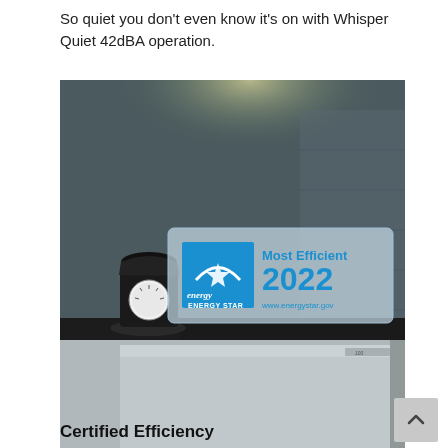So quiet you don't even know it's on with Whisper Quiet 42dBA operation.
[Figure (photo): Kitchen scene showing a dishwasher with an Energy Star Most Efficient 2022 certification sign displayed on the countertop. A kitchen scale is visible on the left. The sign shows the Energy Star logo and reads 'Most Efficient 2022 ENERGY STAR www.energystar.gov'.]
Certified Efficiency